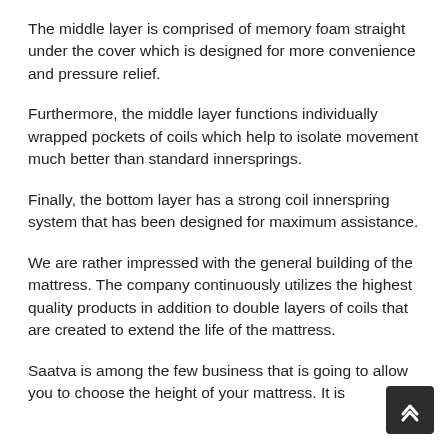The middle layer is comprised of memory foam straight under the cover which is designed for more convenience and pressure relief.
Furthermore, the middle layer functions individually wrapped pockets of coils which help to isolate movement much better than standard innersprings.
Finally, the bottom layer has a strong coil innerspring system that has been designed for maximum assistance.
We are rather impressed with the general building of the mattress. The company continuously utilizes the highest quality products in addition to double layers of coils that are created to extend the life of the mattress.
Saatva is among the few business that is going to allow you to choose the height of your mattress. It is